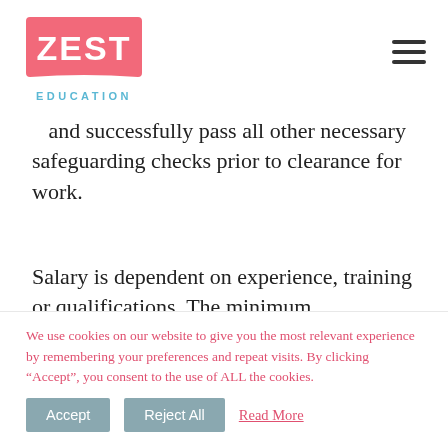[Figure (logo): Zest Education logo — pink flag shape with white ZEST text, blue EDUCATION text below]
and successfully pass all other necessary safeguarding checks prior to clearance for work.
Salary is dependent on experience, training or qualifications. The minimum experience, training or qualifications required for this
We use cookies on our website to give you the most relevant experience by remembering your preferences and repeat visits. By clicking “Accept”, you consent to the use of ALL the cookies.